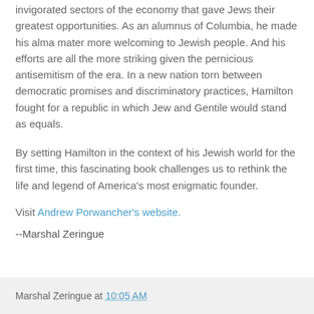invigorated sectors of the economy that gave Jews their greatest opportunities. As an alumnus of Columbia, he made his alma mater more welcoming to Jewish people. And his efforts are all the more striking given the pernicious antisemitism of the era. In a new nation torn between democratic promises and discriminatory practices, Hamilton fought for a republic in which Jew and Gentile would stand as equals.
By setting Hamilton in the context of his Jewish world for the first time, this fascinating book challenges us to rethink the life and legend of America's most enigmatic founder.
Visit Andrew Porwancher's website.
--Marshal Zeringue
Marshal Zeringue at 10:05 AM